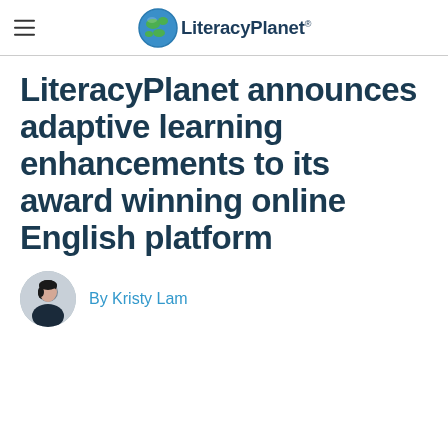LiteracyPlanet®
LiteracyPlanet announces adaptive learning enhancements to its award winning online English platform
By Kristy Lam